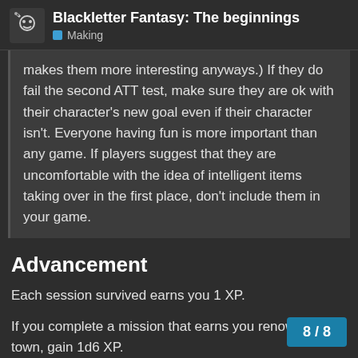Blackletter Fantasy: The beginnings — Making
makes them more interesting anyways.) If they do fail the second ATT test, make sure they are ok with their character's new goal even if their character isn't. Everyone having fun is more important than any game. If players suggest that they are uncomfortable with the idea of intelligent items taking over in the first place, don't include them in your game.
Advancement
Each session survived earns you 1 XP.
If you complete a mission that earns you renown in a town, gain 1d6 XP.
If you complete a mission that earns you renown in a city, gain 2d6+3 XP.
If you complete a mission that earns you a
8 / 8